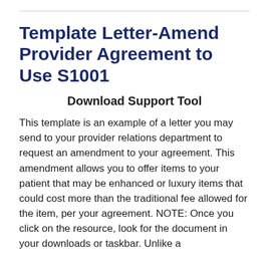Template Letter-Amend Provider Agreement to Use S1001
Download Support Tool
This template is an example of a letter you may send to your provider relations department to request an amendment to your agreement. This amendment allows you to offer items to your patient that may be enhanced or luxury items that could cost more than the traditional fee allowed for the item, per your agreement. NOTE: Once you click on the resource, look for the document in your downloads or taskbar. Unlike a